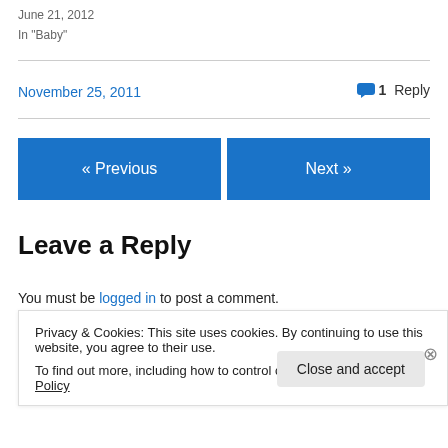June 21, 2012
In "Baby"
November 25, 2011
1 Reply
« Previous
Next »
Leave a Reply
You must be logged in to post a comment.
Privacy & Cookies: This site uses cookies. By continuing to use this website, you agree to their use.
To find out more, including how to control cookies, see here: Cookie Policy
Close and accept